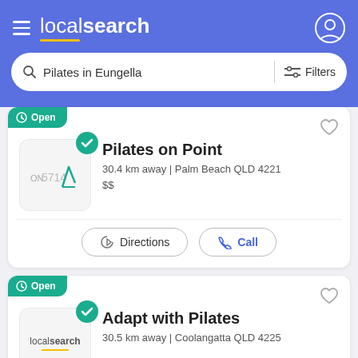localsearch
Pilates in Eungella
Filters
Open
Pilates on Point
30.4 km away | Palm Beach QLD 4221
$$
Directions
Call
Open
Adapt with Pilates
30.5 km away | Coolangatta QLD 4225